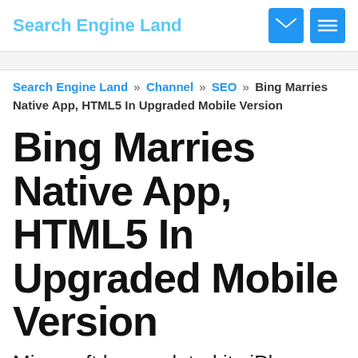Search Engine Land
Search Engine Land » Channel » SEO » Bing Marries Native App, HTML5 In Upgraded Mobile Version
Bing Marries Native App, HTML5 In Upgraded Mobile Version
Microsoft has updated its iPhone and Android apps to make them more consistent with the features and user...